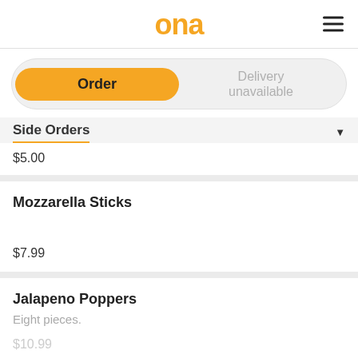ona
Order | Delivery unavailable
Side Orders
$5.00
Mozzarella Sticks
$7.99
Jalapeno Poppers
Eight pieces.
$10.99